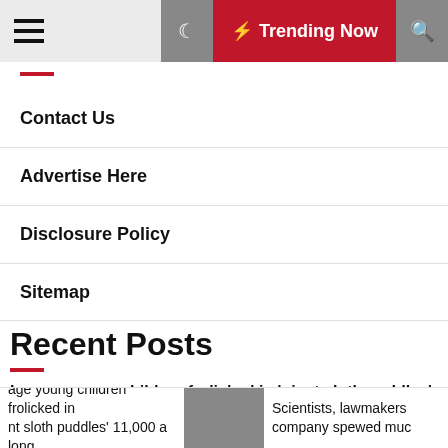≡ Trending Now 🔍
Contact Us
Advertise Here
Disclosure Policy
Sitemap
Recent Posts
Ice age young children frolicked in 'giant sloth puddles' 11,000 a long time back, footprints reveal
age young children frolicked in nt sloth puddles' 11,000 a long... | Scientists, lawmakers company spewed muc